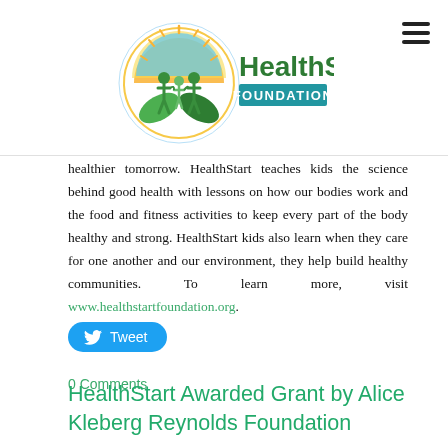[Figure (logo): HealthStart Foundation logo — circular emblem with sun rays, green figures of adults and child, green leaf shapes, with 'HealthStart FOUNDATION' text in green and teal]
healthier tomorrow. HealthStart teaches kids the science behind good health with lessons on how our bodies work and the food and fitness activities to keep every part of the body healthy and strong. HealthStart kids also learn when they care for one another and our environment, they help build healthy communities. To learn more, visit www.healthstartfoundation.org.
[Figure (other): Twitter Tweet button — blue pill-shaped button with bird icon and 'Tweet' text]
0 Comments
HealthStart Awarded Grant by Alice Kleberg Reynolds Foundation